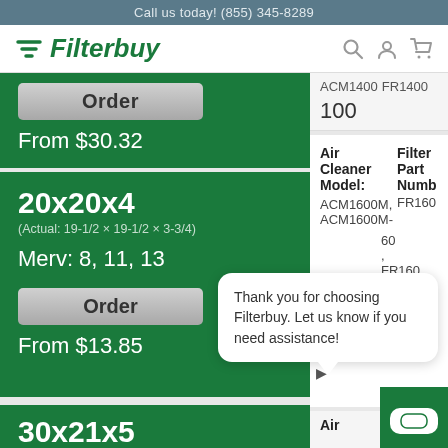Call us today! (855) 345-8289
[Figure (logo): Filterbuy logo with green text and stylized filter icon]
Order
From $30.32
ACM1400
FR1400
100
20x20x4
(Actual: 19-1/2 × 19-1/2 × 3-3/4)
Merv: 8, 11, 13
Order
From $13.85
Air Cleaner Model:
ACM1600M, ACM1600M-
Filter Part Number
FR16...
Thank you for choosing Filterbuy. Let us know if you need assistance!
30x21x5
Air
Filter P...